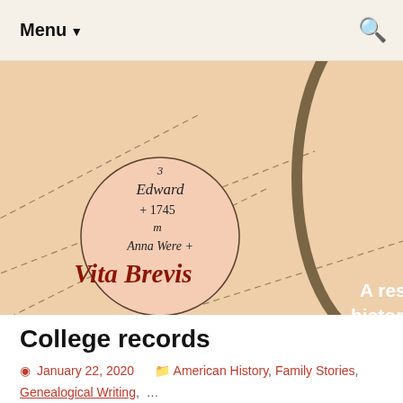Menu ▼
[Figure (illustration): Vintage genealogical chart with circular nodes showing family members: 'Edward + 1745 m Anna Were +' (node 3) and 'Elizabeth. + 1717.' (node 1). Overlaid with 'Vita Brevis' logo in dark red serif font and white text 'A resource history fro AmericanA' on right side. Parchment-colored background.]
College records
January 22, 2020   American History, Family Stories, Genealogical Writing, ...